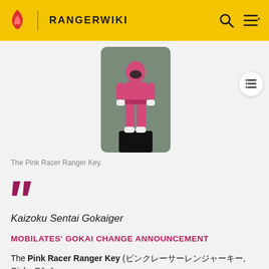RANGERWIKI
[Figure (illustration): A pink ranger figure (Pink Racer Ranger Key) standing upright on a dark display stand against a gray-green background.]
The Pink Racer Ranger Key.
Kaizoku Sentai Gokaiger
MOBILATES' GOKAI CHANGE ANNOUNCEMENT
The Pink Racer Ranger Key (ピンクレーサーレンジャーキー, Pinku Rēsā